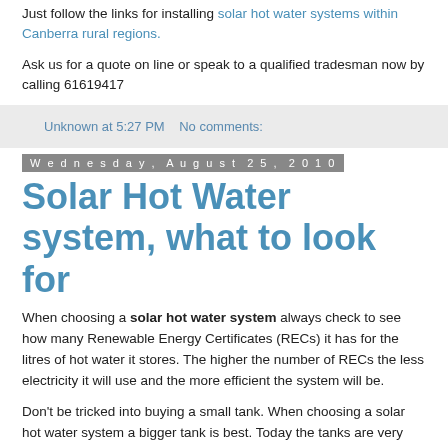Just follow the links for installing solar hot water systems within Canberra rural regions.
Ask us for a quote on line or speak to a qualified tradesman now by calling 61619417
Unknown at 5:27 PM    No comments:
Wednesday, August 25, 2010
Solar Hot Water system, what to look for
When choosing a solar hot water system always check to see how many Renewable Energy Certificates (RECs) it has for the litres of hot water it stores. The higher the number of RECs the less electricity it will use and the more efficient the system will be.
Don't be tricked into buying a small tank. When choosing a solar hot water system a bigger tank is best. Today the tanks are very well insulated. Therefore with a larger tank you can store more free solar hot water.